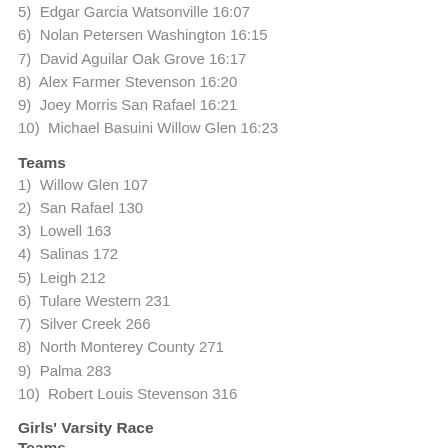5)  Edgar Garcia Watsonville 16:07
6)  Nolan Petersen Washington 16:15
7)  David Aguilar Oak Grove 16:17
8)  Alex Farmer Stevenson 16:20
9)  Joey Morris San Rafael 16:21
10)  Michael Basuini Willow Glen 16:23
Teams
1)  Willow Glen 107
2)  San Rafael 130
3)  Lowell 163
4)  Salinas 172
5)  Leigh 212
6)  Tulare Western 231
7)  Silver Creek 266
8)  North Monterey County 271
9)  Palma 283
10)  Robert Louis Stevenson 316
Girls' Varsity Race
Teams
1)  San Lorenzo Valley 87